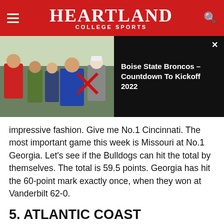Heartland College Sports
[Figure (photo): Heartland College Sports website screenshot showing a page header with red background, hamburger menu, Heartland College Sports logo, and a media strip with a video thumbnail of football players on the left and video title 'Boise State Broncos – Countdown To Kickoff 2022' on a black background on the right.]
impressive fashion. Give me No.1 Cincinnati. The most important game this week is Missouri at No.1 Georgia. Let's see if the Bulldogs can hit the total by themselves. The total is 59.5 points. Georgia has hit the 60-point mark exactly once, when they won at Vanderbilt 62-0.
5. ATLANTIC COAST CONFERENCE (30-15, 11-1 VS. FCS)
BYU beat Virginia. Notre Dame beat North Carolina. Miami (FL) upset Pitt on the road. It was a horrible week for the